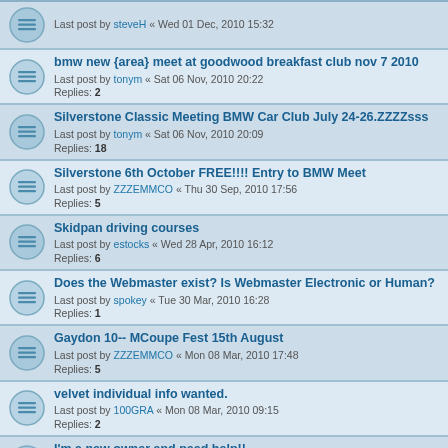Last post by steveH « Wed 01 Dec, 2010 15:32
bmw new {area} meet at goodwood breakfast club nov 7 2010
Last post by tonym « Sat 06 Nov, 2010 20:22
Replies: 2
Silverstone Classic Meeting BMW Car Club July 24-26.ZZZZsss
Last post by tonym « Sat 06 Nov, 2010 20:09
Replies: 18
Silverstone 6th October FREE!!!! Entry to BMW Meet
Last post by ZZZEMMCO « Thu 30 Sep, 2010 17:56
Replies: 5
Skidpan driving courses
Last post by estocks « Wed 28 Apr, 2010 16:12
Replies: 6
Does the Webmaster exist? Is Webmaster Electronic or Human?
Last post by spokey « Tue 30 Mar, 2010 16:28
Replies: 1
Gaydon 10-- MCoupe Fest 15th August
Last post by ZZZEMMCO « Mon 08 Mar, 2010 17:48
Replies: 5
velvet individual info wanted.
Last post by 100GRA « Mon 08 Mar, 2010 09:15
Replies: 2
I'm a new owner and need help!!
Last post by Zed Carer « Sun 28 Feb, 2010 21:09
Replies: 9